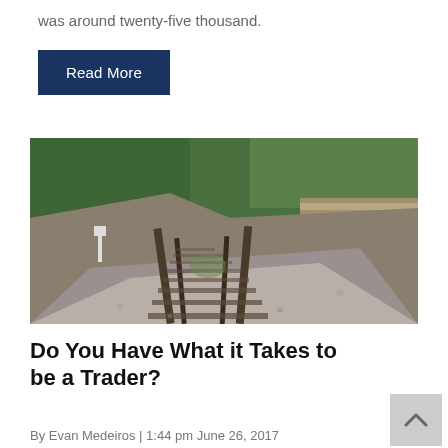was around twenty-five thousand.
Read More
[Figure (photo): Railroad tracks curving through a rocky landscape with trees and a stone wall, viewed from close to the ground]
Do You Have What it Takes to be a Trader?
By Evan Medeiros | 1:44 pm June 26, 2017